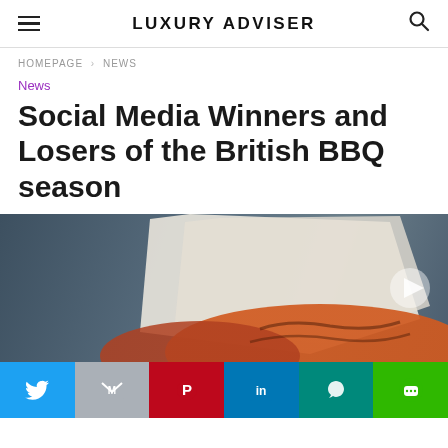LUXURY ADVISER
HOMEPAGE › NEWS
News
Social Media Winners and Losers of the British BBQ season
[Figure (photo): Photo of grilled BBQ food wrapped in paper on a dark blue slate surface]
Social share buttons: Twitter, Gmail, Pinterest, LinkedIn, WhatsApp, LINE